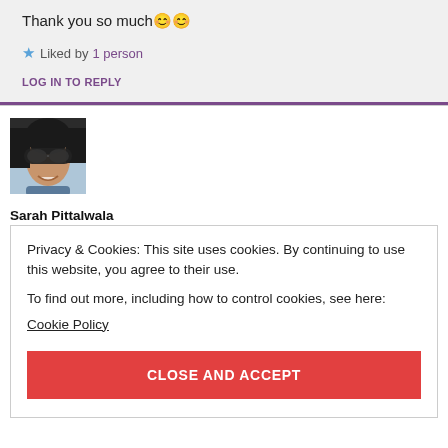Thank you so much 😊😊
★ Liked by 1 person
LOG IN TO REPLY
[Figure (photo): Avatar photo of a woman with sunglasses, smiling, dark hair]
Sarah Pittalwala
Privacy & Cookies: This site uses cookies. By continuing to use this website, you agree to their use.
To find out more, including how to control cookies, see here:
Cookie Policy
CLOSE AND ACCEPT